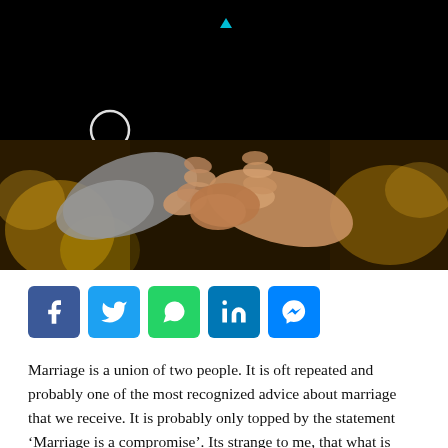[Figure (photo): Black header area with a white circle icon and small cyan triangle/dot above; below is a photo of two people holding hands against a blurred yellow bokeh background.]
[Figure (infographic): Social media share buttons: Facebook (blue), Twitter (light blue), WhatsApp (green), LinkedIn (dark blue), Messenger (blue).]
Marriage is a union of two people. It is oft repeated and probably one of the most recognized advice about marriage that we receive. It is probably only topped by the statement ‘Marriage is a compromise’. Its strange to me, that what is considered a divine union of two people